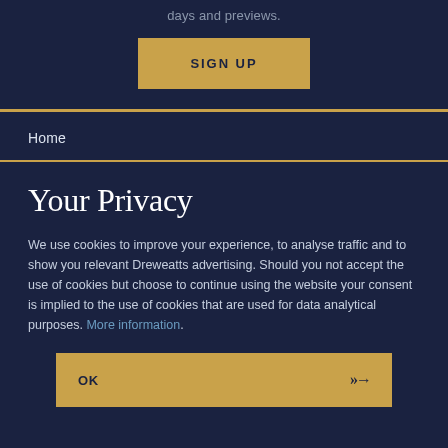days and previews.
SIGN UP
Home
Your Privacy
We use cookies to improve your experience, to analyse traffic and to show you relevant Dreweatts advertising. Should you not accept the use of cookies but choose to continue using the website your consent is implied to the use of cookies that are used for data analytical purposes. More information.
OK